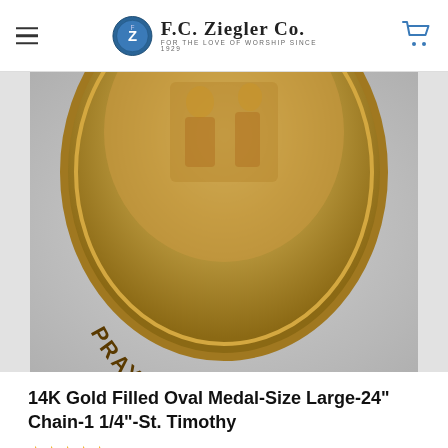F.C. Ziegler Co. — For the Love of Worship Since 1929
[Figure (photo): Close-up photo of a gold-colored oval religious medal showing 'PRAY FOR US' engraved along the bottom rim, with a religious figure scene in the center.]
[Figure (photo): Thumbnail image of a small medal, loading spinner visible.]
14K Gold Filled Oval Medal-Size Large-24" Chain-1 1/4"-St. Timothy
★★★★★ (No reviews yet)
Write a Review